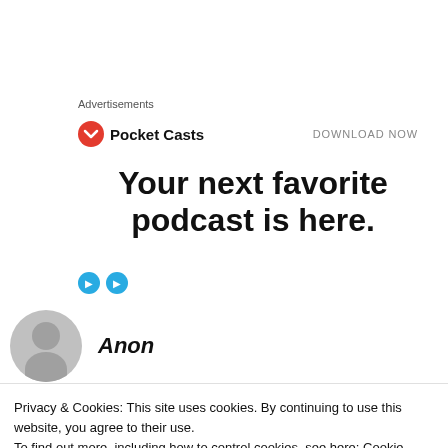Advertisements
[Figure (logo): Pocket Casts logo with red circular icon and bold text 'Pocket Casts', with 'DOWNLOAD NOW' text on the right]
Your next favorite podcast is here.
Anon
Privacy & Cookies: This site uses cookies. By continuing to use this website, you agree to their use.
To find out more, including how to control cookies, see here: Cookie Policy
Close and accept
the Honourable man who promised us